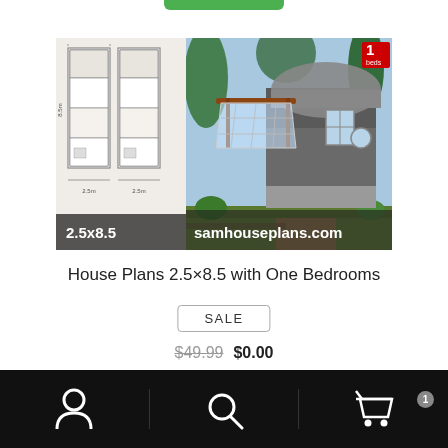[Figure (photo): Product listing page for House Plans 2.5×8.5 with One Bedrooms showing floor plans on left and exterior rendered photo of tiny house on right, with watermark 'samhouseplans.com' and dimension label '2.5x8.5']
House Plans 2.5×8.5 with One Bedrooms
SALE
$49.99  $0.00
Bottom navigation bar with user icon, search icon, and cart icon with badge 1